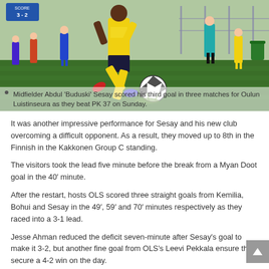[Figure (photo): A soccer player in yellow kit kicking a ball on a green pitch, with a referee in teal and other players/spectators in the background.]
Midfielder Abdul 'Buduski' Sesay scored his third goal in three matches for Oulun Luistinseura as they beat PK 37 on Sunday.
It was another impressive performance for Sesay and his new club overcoming a difficult opponent. As a result, they moved up to 8th in the Finnish in the Kakkonen Group C standing.
The visitors took the lead five minute before the break from a Myan Doot goal in the 40′ minute.
After the restart, hosts OLS scored three straight goals from Kemilia, Bohui and Sesay in the 49′, 59′ and 70′ minutes respectively as they raced into a 3-1 lead.
Jesse Ahman reduced the deficit seven-minute after Sesay's goal to make it 3-2, but another fine goal from OLS's Leevi Pekkala ensure they secure a 4-2 win on the day.
Sesay, who has been listed in the Sierra Leone squad ahead of the World